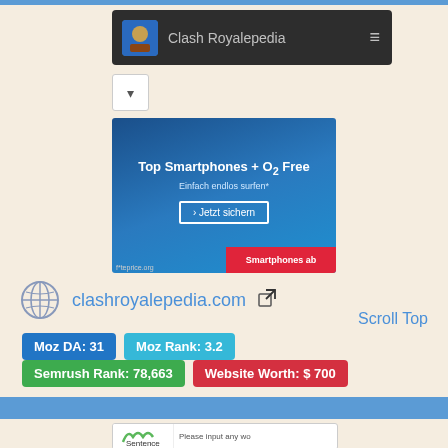[Figure (screenshot): Clash Royalepedia website navigation bar with dark background, game character icon, title text and hamburger menu]
[Figure (screenshot): Small dropdown button UI element]
[Figure (screenshot): Advertisement banner: Top Smartphones + O2 Free, Einfach endlos surfen*, Jetzt sichern button, Smartphones ab red bar]
clashroyalepedia.com
Scroll Top
Moz DA: 31
Moz Rank: 3.2
Semrush Rank: 78,663
Website Worth: $ 700
[Figure (screenshot): Partial Sentence tool advertisement at bottom of page]